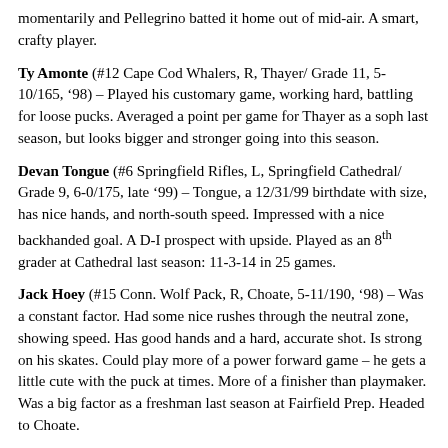momentarily and Pellegrino batted it home out of mid-air. A smart, crafty player.
Ty Amonte (#12 Cape Cod Whalers, R, Thayer/ Grade 11, 5-10/165, '98) – Played his customary game, working hard, battling for loose pucks. Averaged a point per game for Thayer as a soph last season, but looks bigger and stronger going into this season.
Devan Tongue (#6 Springfield Rifles, L, Springfield Cathedral/ Grade 9, 6-0/175, late '99) – Tongue, a 12/31/99 birthdate with size, has nice hands, and north-south speed. Impressed with a nice backhanded goal. A D-I prospect with upside. Played as an 8th grader at Cathedral last season: 11-3-14 in 25 games.
Jack Hoey (#15 Conn. Wolf Pack, R, Choate, 5-11/190, '98) – Was a constant factor. Had some nice rushes through the neutral zone, showing speed. Has good hands and a hard, accurate shot. Is strong on his skates. Could play more of a power forward game – he gets a little cute with the puck at times. More of a finisher than playmaker. Was a big factor as a freshman last season at Fairfield Prep. Headed to Choate.
“C” Forwards: